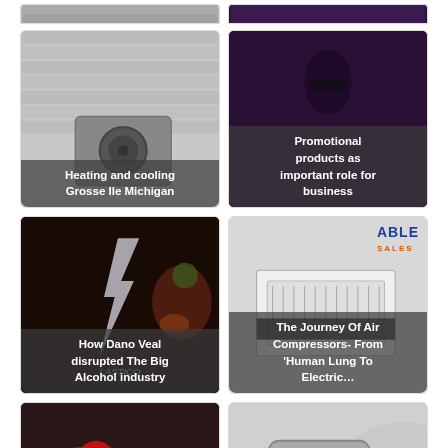[Figure (photo): Partial top of two card images cropped at page top]
[Figure (photo): Heating and cooling unit on brick wall exterior - Heating and cooling Grosse Ile Michigan]
[Figure (photo): Dark purple background with object - Promotional products as important role for business]
[Figure (photo): Elastico logo with steak food - How Dano Veal disrupted The Big Alcohol industry]
[Figure (photo): Able Sales air compressor - The Journey Of Air Compressors- From Human Lung To Electric...]
[Figure (photo): Person with red heart balloons at event]
[Figure (photo): Industrial machine or microscope equipment]